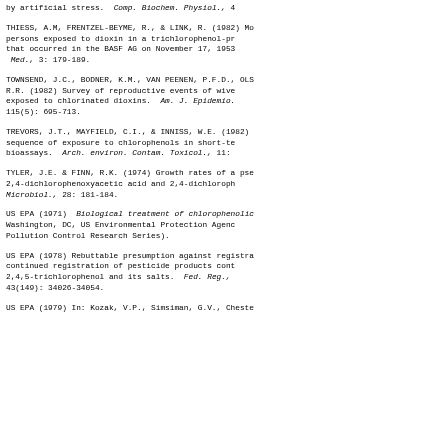by artificial stress. Comp. Biochem. Physiol., 4
THIESS, A.M, FRENTZEL-BEYME, R., & LINK, R. (1982) Mo persons exposed to dioxin in a trichlorophenol-pr that occurred in the BASF AG on November 17, 1953 Med., 3: 179-189.
TOWNSEND, J.C., BODNER, K.M., VAN PEENEN, P.F.D., OLS R.R. (1982) Survey of reproductive events of wive exposed to chlorinated dioxins. Am. J. Epidemio. 115(5): 695-713.
TREVORS, J.T., MAYFIELD, C.I., & INNISS, W.E. (1982) sequence of exposure to chlorophenols in short-te bioassays. Arch. environ. Contam. Toxicol., 11:
TYLER, J.E. & FINN, R.K. (1974) Growth rates of a pse 2,4-dichlorophenoxyacetic acid and 2,4-dichloroph Microbiol., 28: 181-184.
US EPA (1971) Biological treatment of chlorophenolic Washington, DC, US Environmental Protection Agenc Pollution Control Research Series).
US EPA (1978) Rebuttable presumption against registra continued registration of pesticide products cont 2,4,5-trichlorophenol and its salts. Fed. Reg., 43(149): 34026-34054.
US EPA (1979) In: Kozak, V.P., Simsiman, G.V., Cheste